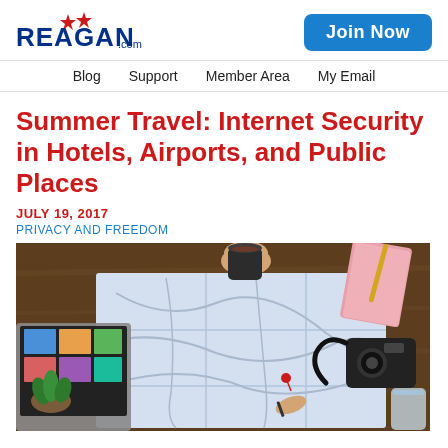REAGAN.com | Join Now
Blog  Support  Member Area  My Email
Summer Travel: Internet Security in Hotels, Airports, and Public Places
JULY 19, 2017
PRIVACY AND FREEDOM
[Figure (photo): Overhead view of a person's hands holding a coffee cup over a large paper map on a wooden table, with a laptop open to travel photos on the left, a camera on the right, a pink notebook, pencil, and a glass of water, suggesting travel planning.]